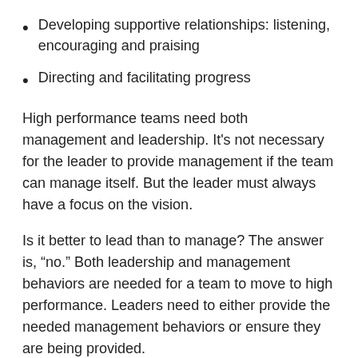Developing supportive relationships: listening, encouraging and praising
Directing and facilitating progress
High performance teams need both management and leadership. It's not necessary for the leader to provide management if the team can manage itself. But the leader must always have a focus on the vision.
Is it better to lead than to manage? The answer is, “no.” Both leadership and management behaviors are needed for a team to move to high performance. Leaders need to either provide the needed management behaviors or ensure they are being provided.